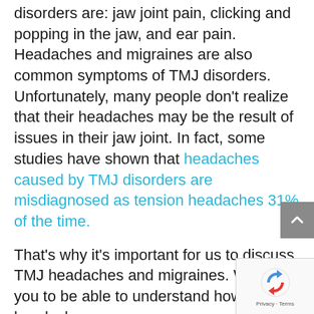disorders are: jaw joint pain, clicking and popping in the jaw, and ear pain. Headaches and migraines are also common symptoms of TMJ disorders. Unfortunately, many people don't realize that their headaches may be the result of issues in their jaw joint. In fact, some studies have shown that headaches caused by TMJ disorders are misdiagnosed as tension headaches 31% of the time.
That's why it's important for us to discuss TMJ headaches and migraines. We want you to be able to understand how TMJ headaches